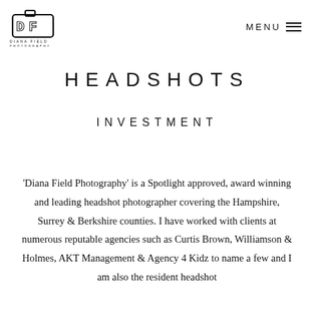Diana Field Photography | MENU
HEADSHOTS
INVESTMENT
'Diana Field Photography' is a Spotlight approved, award winning and leading headshot photographer covering the Hampshire, Surrey & Berkshire counties. I have worked with clients at numerous reputable agencies such as Curtis Brown, Williamson & Holmes, AKT Management & Agency 4 Kidz to name a few and I am also the resident headshot